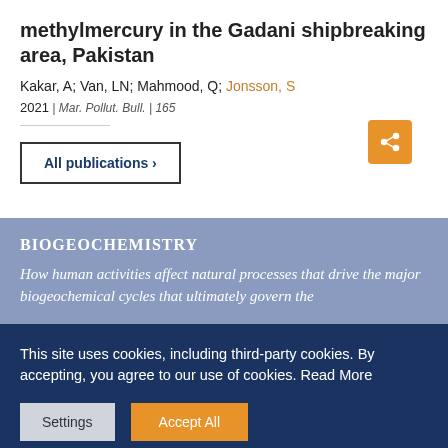methylmercury in the Gadani shipbreaking area, Pakistan
Kakar, A; Van, LN; Mahmood, Q; Jonsson, S
2021 | Mar. Pollut. Bull. | 165
All publications ›
BIOGEOCHEMISTRY
How human activities affect natural processes that drive the major biogeochemical cycles that ultimately govern the
This site uses cookies, including third-party cookies. By accepting, you agree to our use of cookies. Read More
Settings
Accept All